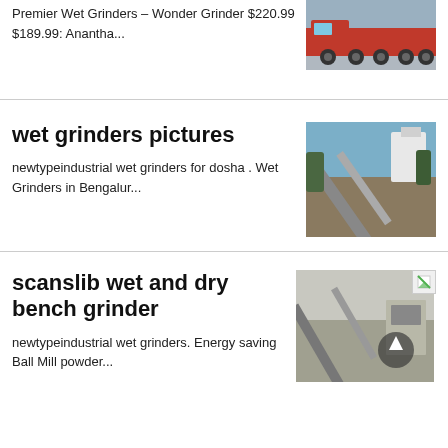Premier Wet Grinders – Wonder Grinder $220.99 $189.99: Anantha...
[Figure (photo): Red heavy transport truck on road]
wet grinders pictures
newtypeindustrial wet grinders for dosha . Wet Grinders in Bengalur...
[Figure (photo): Industrial conveyor belt on hillside construction site]
scanslib wet and dry bench grinder
newtypeindustrial wet grinders. Energy saving Ball Mill powder...
[Figure (photo): Industrial grinding/milling site with conveyor machinery]